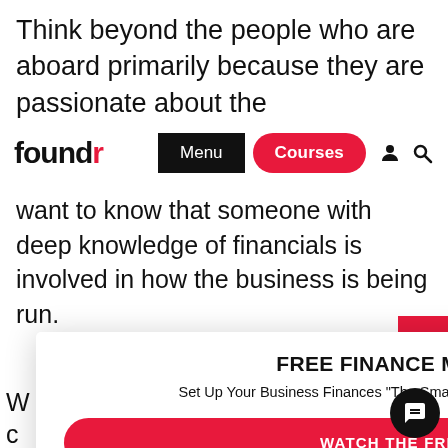Think beyond the people who are aboard primarily because they are passionate about the
[Figure (screenshot): Foundr website navigation bar with logo, Menu button, Courses button, person icon, and search icon]
want to know that someone with deep knowledge of financials is involved in how the business is being run.
FREE FINANCE MASTERCLASS!
Set Up Your Business Finances “The Smart Way” to Earn And Keep More Money...
WATCH THE FREE TRAINING ❯
NO THANKS, I’M NOT INTERESTED ❯